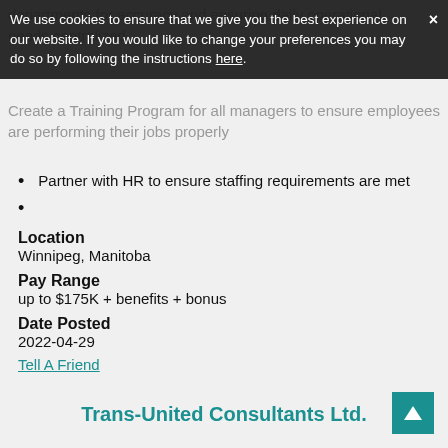departments for accuracy and ensuring daily operational needs centralized.
We use cookies to ensure that we give you the best experience on our website. If you would like to change your preferences you may do so by following the instructions here.
Create a Training Program for all managers to ensure employees are performing their jobs properly
Partner with HR to ensure staffing requirements are met
Location
Winnipeg, Manitoba
Pay Range
up to $175K + benefits + bonus
Date Posted
2022-04-29
Tell A Friend
Trans-United Consultants Ltd.